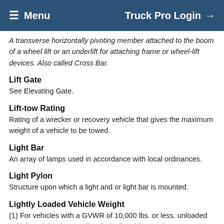Menu   Truck Pro Login
A transverse horizontally pivoting member attached to the boom of a wheel lift or an underlift for attaching frame or wheel-lift devices. Also called Cross Bar.
Lift Gate
See Elevating Gate.
Lift-tow Rating
Rating of a wrecker or recovery vehicle that gives the maximum weight of a vehicle to be towed.
Light Bar
An array of lamps used in accordance with local ordinances.
Light Pylon
Structure upon which a light and or light bar is mounted.
Lightly Loaded Vehicle Weight
(1) For vehicles with a GVWR of 10,000 lbs. or less, unloaded vehicle weight plus 300 lbs. (including driver and instrumentation); (2) For vehicles with a GVWR greater than 10,000 lbs., unloaded vehicle weight plus 500 lbs. (including driver and instrumentation). This weight is used